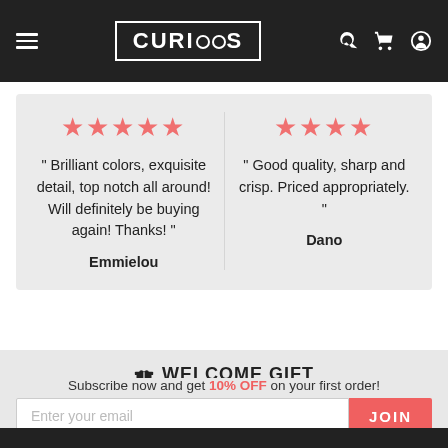CURIOOS — navigation header with menu, logo, search, cart, account icons
"Brilliant colors, exquisite detail, top notch all around! Will definitely be buying again! Thanks!" Emmielou (5 stars)
"Good quality, sharp and crisp. Priced appropriately." Dano (4 stars)
WELCOME GIFT
Subscribe now and get 10% OFF on your first order!
Enter your email | JOIN
171K people like this. Sign Up to see what your friends like.